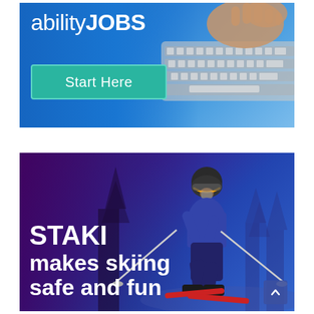[Figure (infographic): AbilityJOBS advertisement banner with blue gradient background, person typing on laptop keyboard in top right, 'abilityJOBS' logo text on left, and a teal 'Start Here' button]
[Figure (infographic): STAKI advertisement banner with dark purple-blue gradient background, child skier in helmet and ski gear in center-right, bold white text on left reading 'STAKI makes skiing safe and fun']